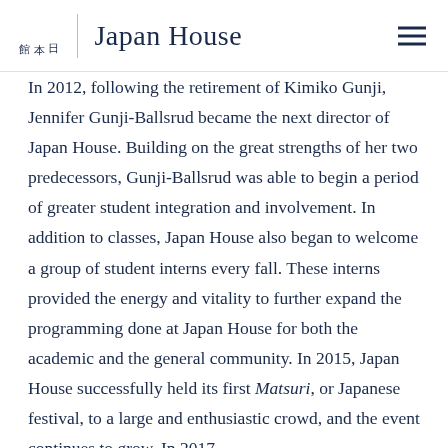日本館  Japan House
In 2012, following the retirement of Kimiko Gunji, Jennifer Gunji-Ballsrud became the next director of Japan House. Building on the great strengths of her two predecessors, Gunji-Ballsrud was able to begin a period of greater student integration and involvement. In addition to classes, Japan House also began to welcome a group of student interns every fall. These interns provided the energy and vitality to further expand the programming done at Japan House for both the academic and the general community. In 2015, Japan House successfully held its first Matsuri, or Japanese festival, to a large and enthusiastic crowd, and the event continues to grow. In 2017